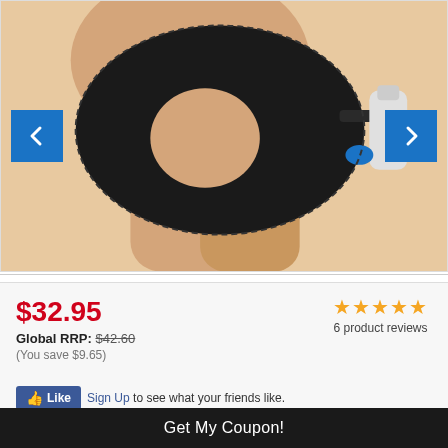[Figure (photo): Person wearing a black knee/hip compression wrap brace with a water bottle or pump attached. Navigation arrows on left and right sides of the product image.]
$32.95
Global RRP: $42.60
(You save $9.65)
★★★★★ 6 product reviews
Like  Sign Up to see what your friends like.
Get My Coupon!